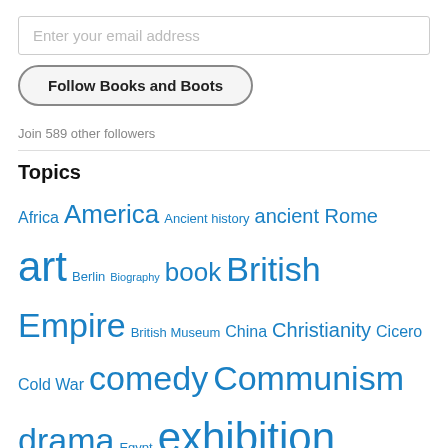Enter your email address
Follow Books and Boots
Join 589 other followers
Topics
Africa America Ancient history ancient Rome art Berlin Biography book British Empire British Museum China Christianity Cicero Cold War comedy Communism drama Egypt exhibition Feminism fiction First World War France George Orwell Germany Graham Greene Great War H.G. Wells history Hitler imperialism Ireland Italy Japan Jews